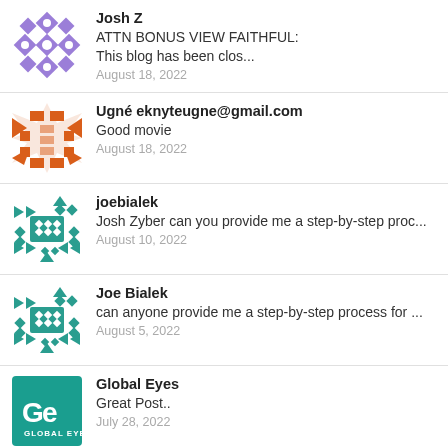Josh Z
ATTN BONUS VIEW FAITHFUL:
This blog has been clos...
August 18, 2022
Ugné eknyteugne@gmail.com
Good movie
August 18, 2022
joebialek
Josh Zyber can you provide me a step-by-step proc...
August 10, 2022
Joe Bialek
can anyone provide me a step-by-step process for ...
August 5, 2022
Global Eyes
Great Post..
July 28, 2022